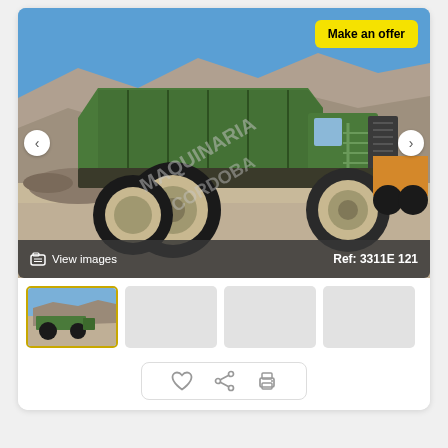[Figure (photo): Large green mining dump truck in a quarry/open-pit mine with rocky hills and blue sky. Watermark text partially visible. Yellow 'Make an offer' button in top-right of image. Navigation arrows on left and right sides. Bottom bar shows 'View images' on left and 'Ref: 3311E 121' on right.]
[Figure (photo): Thumbnail strip: first thumbnail (active/selected with yellow border) shows same green mining dump truck from a distance. Three other thumbnail placeholders are empty grey boxes.]
[Figure (other): Action icons row: heart (favorite), share, and print icons inside a rounded rectangle border.]